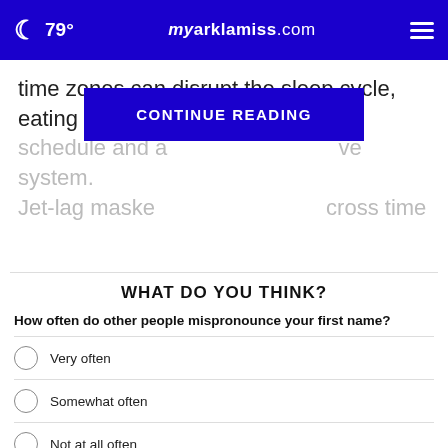🌙 79° myarklamiss.com ≡
time zones can disrupt the sleep cycle, eating schedule and a[...] ve system. Jet-lag maske[...] cross time
CONTINUE READING
WHAT DO YOU THINK?
How often do other people mispronounce your first name?
Very often
Somewhat often
Not at all often
Other / Does not apply
NEXT *